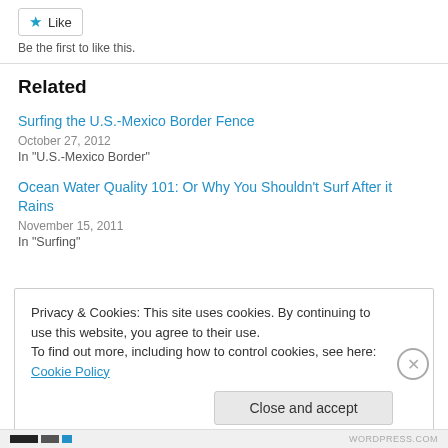[Figure (other): Like button with teal star icon]
Be the first to like this.
Related
Surfing the U.S.-Mexico Border Fence
October 27, 2012
In "U.S.-Mexico Border"
Ocean Water Quality 101: Or Why You Shouldn't Surf After it Rains
November 15, 2011
In "Surfing"
Privacy & Cookies: This site uses cookies. By continuing to use this website, you agree to their use.
To find out more, including how to control cookies, see here: Cookie Policy
Close and accept